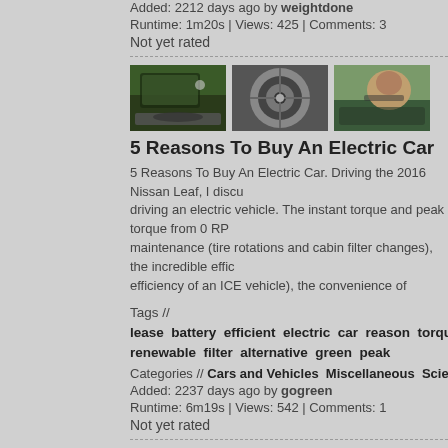Added: 2212 days ago by weightdone
Runtime: 1m20s | Views: 425 | Comments: 3
Not yet rated
[Figure (photo): Three video thumbnails: car interior dashboard view, close-up of a wheel/hubcap, driver in car]
5 Reasons To Buy An Electric Car
5 Reasons To Buy An Electric Car. Driving the 2016 Nissan Leaf, I discuss driving an electric vehicle. The instant torque and peak torque from 0 RP maintenance (tire rotations and cabin filter changes), the incredible effic efficiency of an ICE vehicle), the convenience of charging, and the affor electric car. Related Videos Nissan Leaf Review - https://youtu.be/Kovd https://youtu.be/NCdLFhUmubc References: Tribology International Stu http://www.sciencedirect.com/science/article/pii/S0301679X11003501 F https://www.fueleconomy.gov/feg/evtech.shtml
Tags // lease battery efficient electric car reason torque mainter renewable filter alternative green peak
Categories // Cars and Vehicles Miscellaneous Science and Technology
Added: 2237 days ago by gogreen
Runtime: 6m19s | Views: 542 | Comments: 1
Not yet rated
[Figure (photo): Three video thumbnails at bottom, all with blue backgrounds]